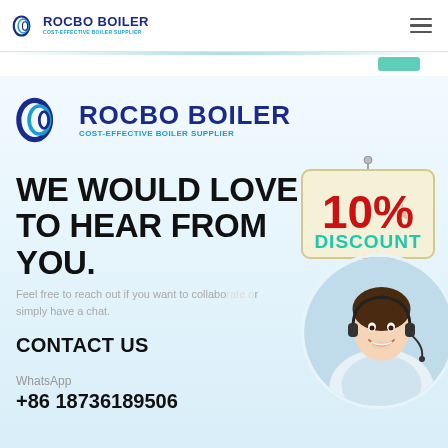ROCBO BOILER — COST-EFFECTIVE BOILER SUPPLIER (nav bar)
[Figure (logo): Rocbo Boiler logo — large version with circular wave icon, text ROCBO BOILER and COST-EFFECTIVE BOILER SUPPLIER]
WE WOULD LOVE TO HEAR FROM YOU.
[Figure (illustration): 10% DISCOUNT hanging sign badge in red and teal colors]
Feel free to reach out if you want to collaborate or simply have a chat.
CONTACT US
[Figure (photo): Customer service representative woman wearing headset, smiling, circular cropped photo]
WhatsApp
+86 18736189506